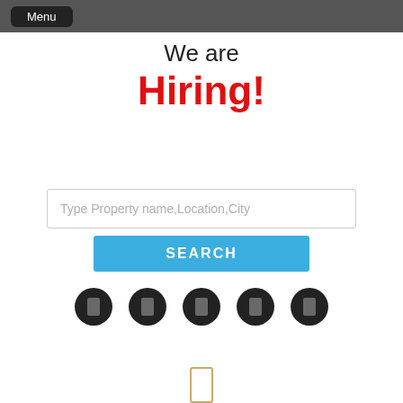Menu
We are Hiring!
[Figure (screenshot): Search input field with placeholder text 'Type Property name,Location,City' and a blue SEARCH button below it, followed by a row of 5 dark circular icon buttons]
[Figure (other): Small rectangular icon at the bottom center of the page]